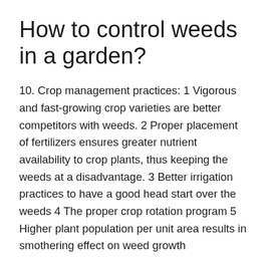How to control weeds in a garden?
10. Crop management practices: 1 Vigorous and fast-growing crop varieties are better competitors with weeds. 2 Proper placement of fertilizers ensures greater nutrient availability to crop plants, thus keeping the weeds at a disadvantage. 3 Better irrigation practices to have a good head start over the weeds 4 The proper crop rotation program 5 Higher plant population per unit area results in smothering effect on weed growth